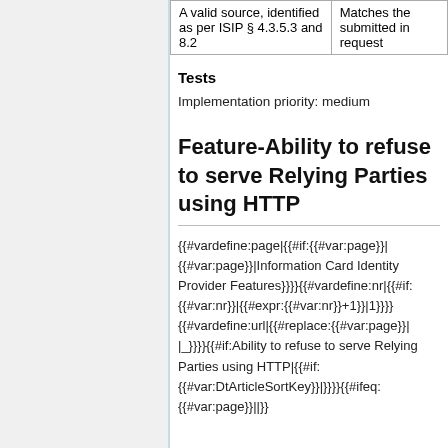| A valid source, identified as per ISIP § 4.3.5.3 and 8.2 | Matches the submitted in request |
Tests
Implementation priority: medium
Feature-Ability to refuse to serve Relying Parties using HTTP
{{#vardefine:page|{{#if:{{#var:page}}|{{#var:page}}|Information Card Identity Provider Features}}}}{{#vardefine:nr|{{#if:{{#var:nr}}|{{#expr:{{#var:nr}}+1}}|1}}}}{{#vardefine:url|{{#replace:{{#var:page}}| |_}}}}{{#if:Ability to refuse to serve Relying Parties using HTTP|{{#if:{{#var:DtArticleSortKey}}|}}}}{{#ifeq:{{#var:page}}||}}